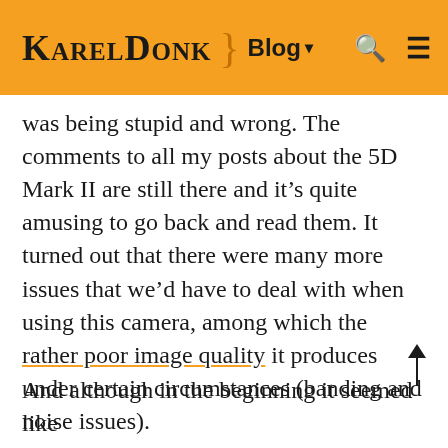KARELDONK } Blog ▾ 🔍 ≡
was being stupid and wrong. The comments to all my posts about the 5D Mark II are still there and it's quite amusing to go back and read them. It turned out that there were many more issues that we'd have to deal with when using this camera, among which the rather poor image quality it produces under certain circumstances (banding and noise issues).
And although in the beginning it seemed like